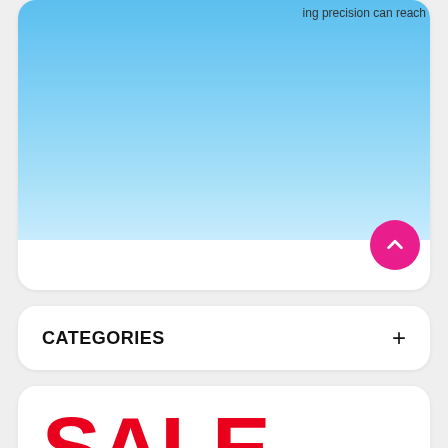[Figure (illustration): Top card with blue gradient background and partial text 'ing precision can reach' visible at top right]
ing precision can reach
CATEGORIES   +
[Figure (illustration): Sale promotional banner showing SALE. UP TO 40% OFF Gmini T34-M with red and purple text on white background]
SALE.
UP TO 40% OFF
Gmini T34-M